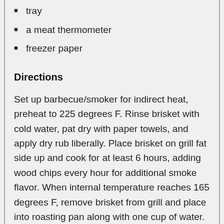tray
a meat thermometer
freezer paper
Directions
Set up barbecue/smoker for indirect heat, preheat to 225 degrees F. Rinse brisket with cold water, pat dry with paper towels, and apply dry rub liberally. Place brisket on grill fat side up and cook for at least 6 hours, adding wood chips every hour for additional smoke flavor. When internal temperature reaches 165 degrees F, remove brisket from grill and place into roasting pan along with one cup of water. Cover tightly with foil and return brisket to grill. Cook for another 2 hours or